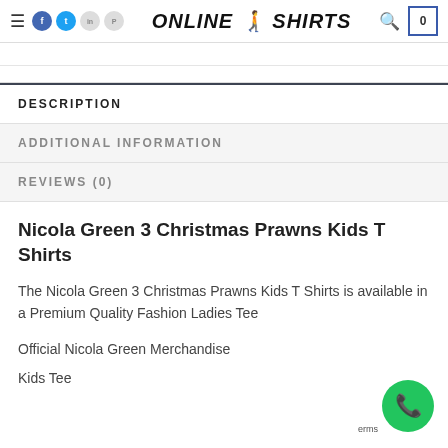ONLINE T SHIRTS
DESCRIPTION
ADDITIONAL INFORMATION
REVIEWS (0)
Nicola Green 3 Christmas Prawns Kids T Shirts
The Nicola Green 3 Christmas Prawns Kids T Shirts is available in a Premium Quality Fashion Ladies Tee
Official Nicola Green Merchandise
Kids Tee